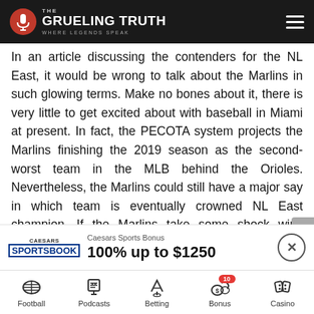The Grueling Truth — Where Legends Speak
In an article discussing the contenders for the NL East, it would be wrong to talk about the Marlins in such glowing terms. Make no bones about it, there is very little to get excited about with baseball in Miami at present. In fact, the PECOTA system projects the Marlins finishing the 2019 season as the second-worst team in the MLB behind the Orioles. Nevertheless, the Marlins could still have a major say in which team is eventually crowned NL East champion. If the Marlins take some shock wins against the likes of the Phillies or the Nationals that could be enough to tip the balance elsewhere. In a division where fine margins will matter more
[Figure (infographic): Caesars Sportsbook ad banner: '100% up to $1250' promo offer with close button]
Football | Podcasts | Betting | Bonus (10) | Casino